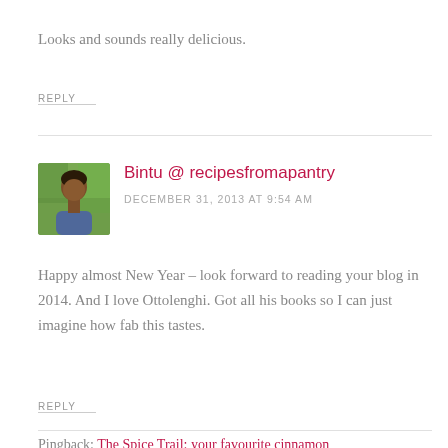Looks and sounds really delicious.
REPLY
Bintu @ recipesfromapantry
DECEMBER 31, 2013 AT 9:54 AM
[Figure (photo): Avatar photo of Bintu, a woman with dark hair, outdoors with green foliage background]
Happy almost New Year – look forward to reading your blog in 2014. And I love Ottolenghi. Got all his books so I can just imagine how fab this tastes.
REPLY
Pingback: The Spice Trail: your favourite cinnamon